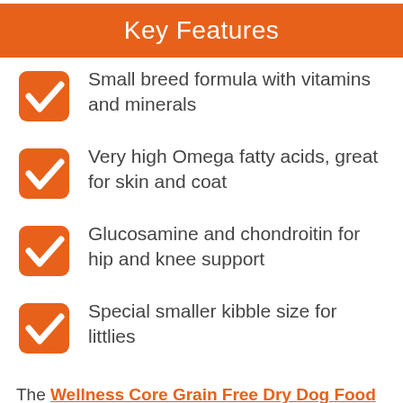Key Features
Small breed formula with vitamins and minerals
Very high Omega fatty acids, great for skin and coat
Glucosamine and chondroitin for hip and knee support
Special smaller kibble size for littlies
The Wellness Core Grain Free Dry Dog Food is